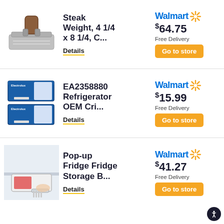[Figure (photo): Steak weight / burger press with wooden handle, stainless steel body]
Steak Weight, 4 1/4 x 8 1/4, C...
Details
[Figure (logo): Walmart logo with spark symbol]
$ 64.75
Free Delivery
Go to store
[Figure (photo): Electrolux refrigerator OEM part packaging, two blue and white boxes]
EA2358880 Refrigerator OEM Cri...
Details
[Figure (logo): Walmart logo with spark symbol]
$ 15.99
Free Delivery
Go to store
[Figure (photo): Pop-up fridge storage basket being pulled out from refrigerator shelf]
Pop-up Fridge Fridge Storage B...
Details
[Figure (logo): Walmart logo with spark symbol]
$ 41.27
Free Delivery
Go to store